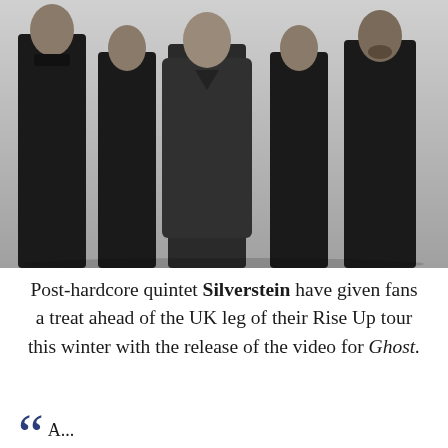[Figure (photo): Five members of the band Silverstein posed against a light grey background, all wearing dark/black clothing. The central figure wears a black denim jacket over a graphic t-shirt.]
Post-hardcore quintet Silverstein have given fans a treat ahead of the UK leg of their Rise Up tour this winter with the release of the video for Ghost.
“ A...